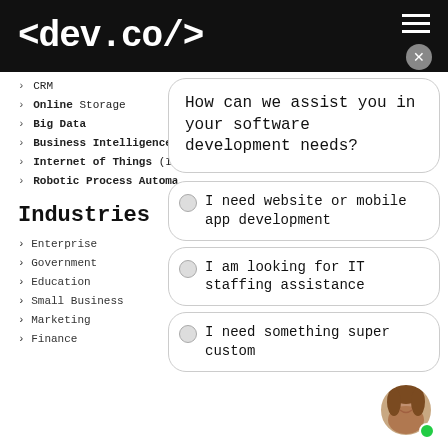<dev.co/>
> CRM
> Online Storage
> Big Data
> Business Intelligence
> Internet of Things (IoT)
> Robotic Process Automa...
Industries
> Enterprise
> Government
> Education
> Small Business
> Marketing
> Finance
How can we assist you in your software development needs?
I need website or mobile app development
I am looking for IT staffing assistance
I need something super custom
[Figure (photo): Circular avatar photo of a smiling woman with brown hair, with a green online indicator dot.]